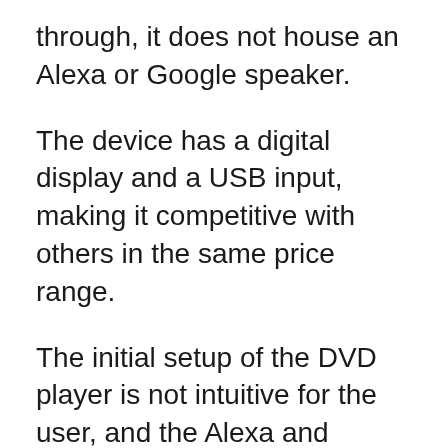through, it does not house an Alexa or Google speaker.
The device has a digital display and a USB input, making it competitive with others in the same price range.
The initial setup of the DVD player is not intuitive for the user, and the Alexa and Google Assistant is tricky to set up.
The interface for streaming on this